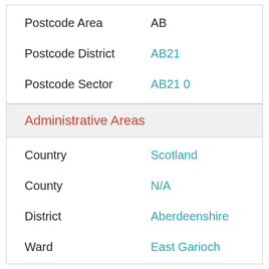| Field | Value |
| --- | --- |
| Postcode Area | AB |
| Postcode District | AB21 |
| Postcode Sector | AB21 0 |
Administrative Areas
| Field | Value |
| --- | --- |
| Country | Scotland |
| County | N/A |
| District | Aberdeenshire |
| Ward | East Garioch |